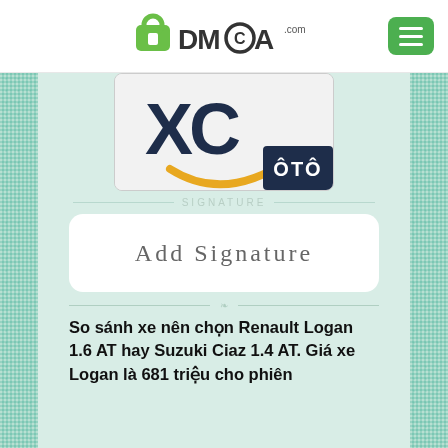DMCA.com
[Figure (logo): XC Oto logo card — large dark blue letters XC with gold arc smile, OTO label in dark navy corner badge]
SIGNATURE
[Figure (other): Add Signature box — white rounded rectangle with text 'Add Signature' in serif light font]
So sánh xe nên chọn Renault Logan 1.6 AT hay Suzuki Ciaz 1.4 AT. Giá xe Logan là 681 triệu cho phiên